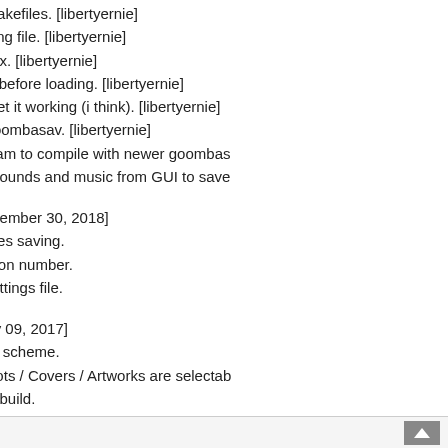* Update makefiles. [libertyernie]
* Add missing file. [libertyernie]
* Makefile fix. [libertyernie]
* Clean file before loading. [libertyernie]
* Fixes to get it working (i think). [libertyernie]
* Update goombasav. [libertyernie]
* Edit fceuram to compile with newer goombas...
* Remove sounds and music from GUI to save...
[1.1.0 - December 30, 2018]
* Preferences saving.
* New version number.
* Unique settings file.
[1.0.0 - May 09, 2017]
* New color scheme.
* Screenshots / Covers / Artworks are selectab...
* Fixed GC build.
https://github.com/niuus/FCEUltraRX
https://www.nintendomax.com/viewtopic.php?f...
To read more of the post and Download, cli...
Join In and Discuss Here
Submit News and Releases Here and Contact...